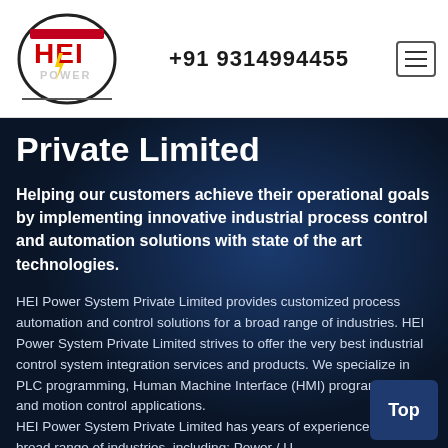[Figure (logo): HEI Power logo — circular emblem with red HEI letters and POWER text below, with a yellow lightning bolt]
+91 9314994455
Private Limited
Helping our customers achieve their operational goals by implementing innovative industrial process control and automation solutions with state of the art technologies.
HEI Power System Private Limited provides customized process automation and control solutions for a broad range of industries. HEI Power System Private Limited strives to offer the very best industrial control system integration services and products. We specialize in PLC programming, Human Machine Interface (HMI) programming and motion control applications. HEI Power System Private Limited has years of experience in a broad range of industries, including: Power / U… Generation, Pulp & Paper, Food & Beverages, Pharmaceuticals, Textile and Cement industries. Our team …